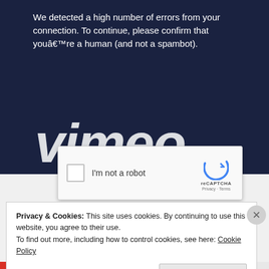[Figure (screenshot): Vimeo CAPTCHA error page screenshot showing dark navy background with white error text, Vimeo logo watermark, and reCAPTCHA widget with checkbox and 'I'm not a robot' label]
We detected a high number of errors from your connection. To continue, please confirm that youâ€™re a human (and not a spambot).
I'm not a robot
reCAPTCHA
Privacy · Terms
Privacy & Cookies: This site uses cookies. By continuing to use this website, you agree to their use.
To find out more, including how to control cookies, see here: Cookie Policy
Close and accept